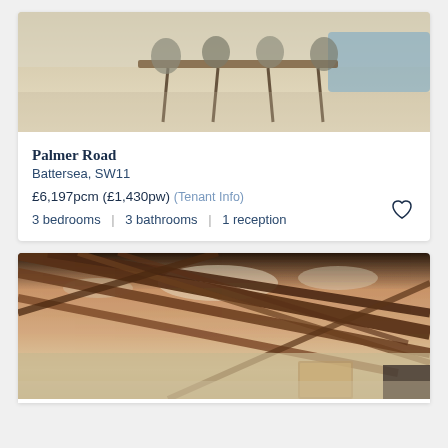[Figure (photo): Interior photo of a dining area with light wood floors, chairs around a table, blurred background with blue furniture]
Palmer Road
Battersea, SW11
£6,197pcm (£1,430pw) (Tenant Info)
3 bedrooms | 3 bathrooms | 1 reception
[Figure (photo): Interior photo showing wooden exposed roof beams/trusses with skylights, living space below]